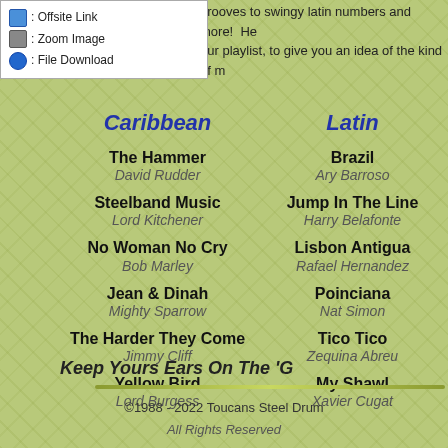: Offsite Link
: Zoom Image
: File Download
grooves to swingy latin numbers and more!  He... our playlist, to give you an idea of the kind of m...
Caribbean
Latin
The Hammer
David Rudder
Brazil
Ary Barroso
Steelband Music
Lord Kitchener
Jump In The Line
Harry Belafonte
No Woman No Cry
Bob Marley
Lisbon Antigua
Rafael Hernandez
Jean & Dinah
Mighty Sparrow
Poinciana
Nat Simon
The Harder They Come
Jimmy Cliff
Tico Tico
Zequina Abreu
My Shawl
Xavier Cugat
Yellow Bird
Lord Burgess
Keep Yours Ears On The 'G...
©1988 - 2022 Toucans Steel Drum
All Rights Reserved
Site by Dossan Design